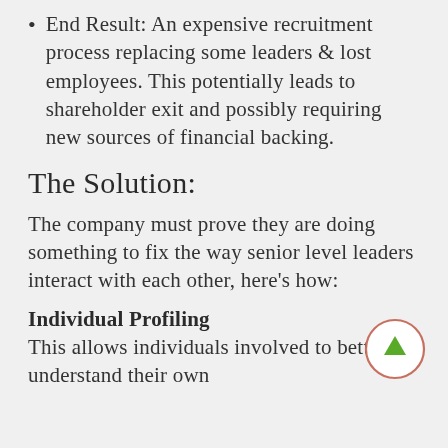End Result: An expensive recruitment process replacing some leaders & lost employees. This potentially leads to shareholder exit and possibly requiring new sources of financial backing.
The Solution:
The company must prove they are doing something to fix the way senior level leaders interact with each other, here’s how:
[Figure (illustration): A circular button with a salmon/red outline and a green upward arrow in the center, used as a navigation element.]
Individual Profiling
This allows individuals involved to better understand their own